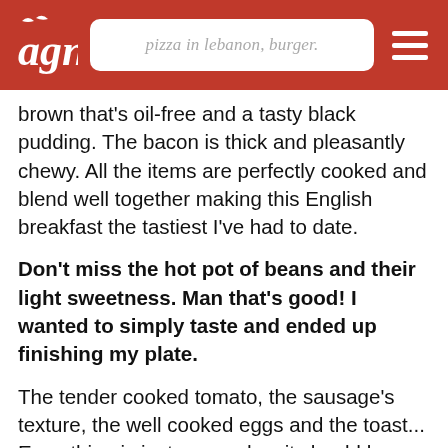pizza in lebanon, burger.
brown that's oil-free and a tasty black pudding. The bacon is thick and pleasantly chewy. All the items are perfectly cooked and blend well together making this English breakfast the tastiest I've had to date.
Don't miss the hot pot of beans and their light sweetness. Man that's good! I wanted to simply taste and ended up finishing my plate.
The tender cooked tomato, the sausage's texture, the well cooked eggs and the toast... Everything is just as good as it should be without the fat, without the oil. Butter up your toast, add some tomatoes, the beans, egg yolk and bacon. I wish I could express myself more.
The Hawksmoor it is, my favorite English breakfast